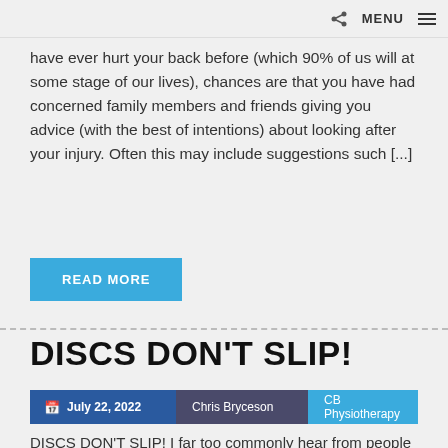MENU
have ever hurt your back before (which 90% of us will at some stage of our lives), chances are that you have had concerned family members and friends giving you advice (with the best of intentions) about looking after your injury. Often this may include suggestions such [...]
READ MORE
DISCS DON'T SLIP!
July 22, 2022  Chris Bryceson  CB Physiotherapy
DISCS DON'T SLIP! I far too commonly hear from people that they have a "slipped disc". That they can't exercise due to a "slipped disc". That they have ongoing back pain due to "slipping